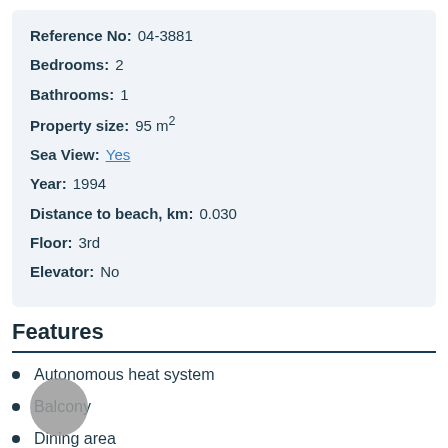Reference No: 04-3881
Bedrooms: 2
Bathrooms: 1
Property size: 95 m²
Sea View: Yes
Year: 1994
Distance to beach, km: 0.030
Floor: 3rd
Elevator: No
Features
Autonomous heat system
Balcony
Dining area
Kitchen
Living room